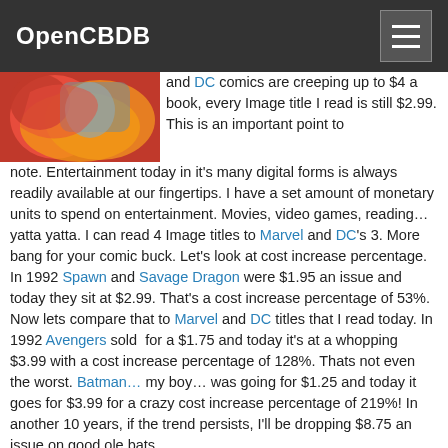OpenCBDB
[Figure (photo): Comic book cover illustration with red and yellow characters]
and DC comics are creeping up to $4 a book, every Image title I read is still $2.99. This is an important point to note. Entertainment today in it's many digital forms is always readily available at our fingertips. I have a set amount of monetary units to spend on entertainment. Movies, video games, reading… yatta yatta. I can read 4 Image titles to Marvel and DC's 3. More bang for your comic buck. Let's look at cost increase percentage. In 1992 Spawn and Savage Dragon were $1.95 an issue and today they sit at $2.99. That's a cost increase percentage of 53%. Now lets compare that to Marvel and DC titles that I read today. In 1992 Avengers sold for a $1.75 and today it's at a whopping $3.99 with a cost increase percentage of 128%. Thats not even the worst. Batman… my boy… was going for $1.25 and today it goes for $3.99 for a crazy cost increase percentage of 219%! In another 10 years, if the trend persists, I'll be dropping $8.75 an issue on good ole bats.
[Figure (photo): Comic book image, dark figure]
Free Digital